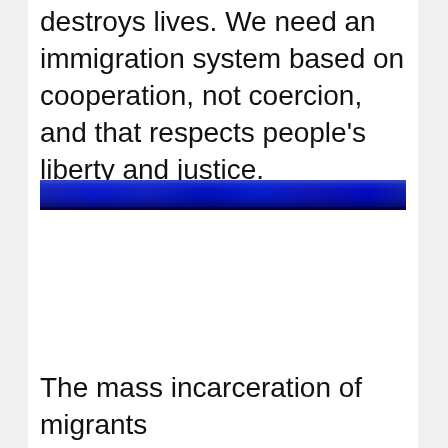destroys lives. We need an immigration system based on cooperation, not coercion, and that respects people's liberty and justice.
[Figure (photo): A narrow horizontal blue textured banner or decorative divider bar with a deep blue color and slight texture/sheen.]
The mass incarceration of migrants